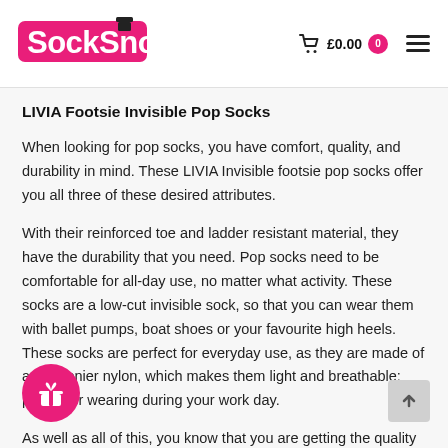SockSnob — £0.00 0
LIVIA Footsie Invisible Pop Socks
When looking for pop socks, you have comfort, quality, and durability in mind. These LIVIA Invisible footsie pop socks offer you all three of these desired attributes.
With their reinforced toe and ladder resistant material, they have the durability that you need. Pop socks need to be comfortable for all-day use, no matter what activity. These socks are a low-cut invisible sock, so that you can wear them with ballet pumps, boat shoes or your favourite high heels. These socks are perfect for everyday use, as they are made of a 15 denier nylon, which makes them light and breathable; perfect for wearing during your work day.
As well as all of this, you know that you are getting the quality